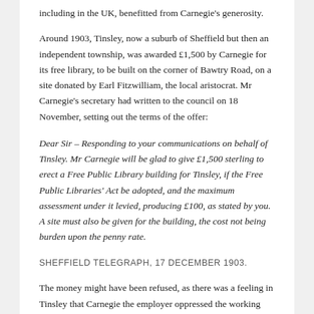including in the UK, benefitted from Carnegie's generosity.
Around 1903, Tinsley, now a suburb of Sheffield but then an independent township, was awarded £1,500 by Carnegie for its free library, to be built on the corner of Bawtry Road, on a site donated by Earl Fitzwilliam, the local aristocrat. Mr Carnegie's secretary had written to the council on 18 November, setting out the terms of the offer:
Dear Sir – Responding to your communications on behalf of Tinsley. Mr Carnegie will be glad to give £1,500 sterling to erect a Free Public Library building for Tinsley, if the Free Public Libraries' Act be adopted, and the maximum assessment under it levied, producing £100, as stated by you. A site must also be given for the building, the cost not being burden upon the penny rate.
SHEFFIELD TELEGRAPH, 17 DECEMBER 1903.
The money might have been refused, as there was a feeling in Tinsley that Carnegie the employer oppressed the working man libraries were intended to help. There